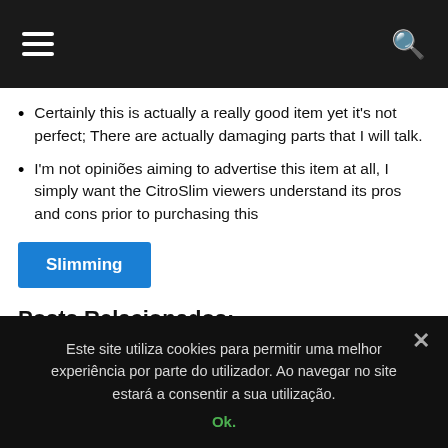[Navigation bar with hamburger menu and search icon]
Certainly this is actually a really good item yet it's not perfect; There are actually damaging parts that I will talk.
I'm not opiniões aiming to advertise this item at all, I simply want the CitroSlim viewers understand its pros and cons prior to purchasing this
Slimming
Posts Relacionados:
Este site utiliza cookies para permitir uma melhor experiência por parte do utilizador. Ao navegar no site estará a consentir a sua utilização.
Ok.